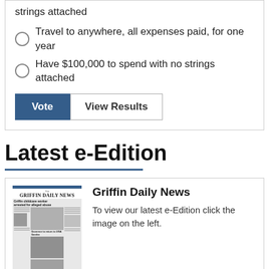strings attached
Travel to anywhere, all expenses paid, for one year
Have $100,000 to spend with no strings attached
Vote | View Results
Latest e-Edition
[Figure (photo): Thumbnail of Griffin Daily News front page]
Griffin Daily News
To view our latest e-Edition click the image on the left.